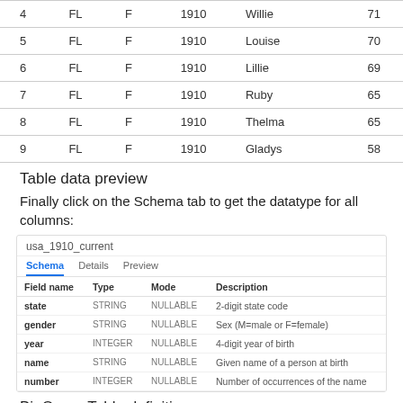|  | state | gender | year | name | number |
| --- | --- | --- | --- | --- | --- |
| 4 | FL | F | 1910 | Willie | 71 |
| 5 | FL | F | 1910 | Louise | 70 |
| 6 | FL | F | 1910 | Lillie | 69 |
| 7 | FL | F | 1910 | Ruby | 65 |
| 8 | FL | F | 1910 | Thelma | 65 |
| 9 | FL | F | 1910 | Gladys | 58 |
Table data preview
Finally click on the Schema tab to get the datatype for all columns:
[Figure (screenshot): BigQuery table schema screenshot showing usa_1910_current table with Schema/Details/Preview tabs. Schema tab active. Table with columns Field name, Type, Mode, Description. Rows: state STRING NULLABLE 2-digit state code; gender STRING NULLABLE Sex (M=male or F=female); year INTEGER NULLABLE 4-digit year of birth; name STRING NULLABLE Given name of a person at birth; number INTEGER NULLABLE Number of occurrences of the name.]
BigQuery Table definition